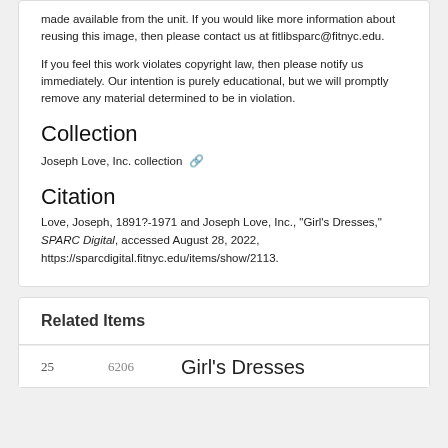made available from the unit. If you would like more information about reusing this image, then please contact us at fitlibsparc@fitnyc.edu.
If you feel this work violates copyright law, then please notify us immediately. Our intention is purely educational, but we will promptly remove any material determined to be in violation.
Collection
Joseph Love, Inc. collection 🔗
Citation
Love, Joseph, 1891?-1971 and Joseph Love, Inc., "Girl's Dresses," SPARC Digital, accessed August 28, 2022, https://sparcdigital.fitnyc.edu/items/show/2113.
Related Items
25  6206  Girl's Dresses